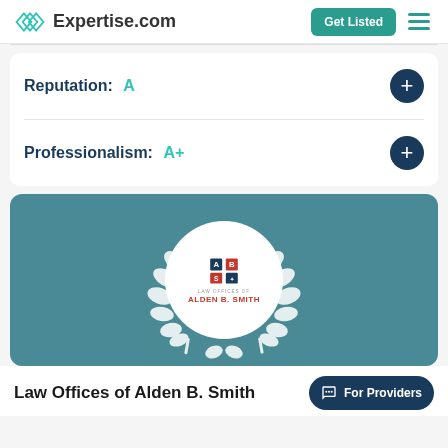Expertise.com
Reputation: A
Professionalism: A+
[Figure (logo): Law Offices of Alden B. Smith logo inside a white circle with laurel wreath on teal background]
Law Offices of Alden B. Smith